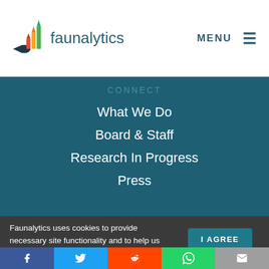[Figure (logo): Faunalytics logo with colorful bar chart and fish icon, text reading 'faunalytics']
MENU ≡
CONNECT
What We Do
Board & Staff
Research In Progress
Press
Faunalytics uses cookies to provide necessary site functionality and to help us understand how you use our website. By continuing to use this site, you agree to
I AGREE
[Figure (infographic): Social sharing bar with Facebook, Twitter, Reddit, WhatsApp, and Email icons]